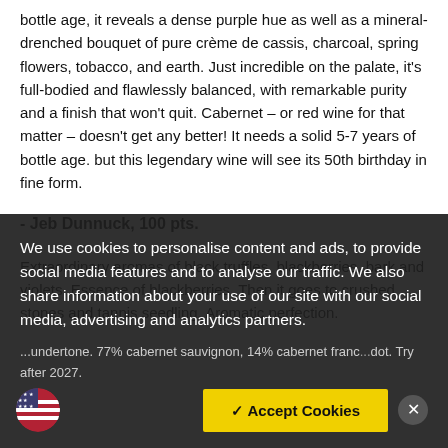bottle age, it reveals a dense purple hue as well as a mineral-drenched bouquet of pure crème de cassis, charcoal, spring flowers, tobacco, and earth. Just incredible on the palate, it's full-bodied and flawlessly balanced, with remarkable purity and a finish that won't quit. Cabernet – or red wine for that matter – doesn't get any better! It needs a solid 5-7 years of bottle age. but this legendary wine will see its 50th birthday in fine form.
- Jeb Dunnuck, 100 pts.
Extraordinary aromas of black truffles, blackberries, bark and violets. Essence of blackberries. Then it goes to crushed stones and tannis seedling. Aromatic perfection. ...undertone. 77% cabernet sauvignon, 14% cabernet franc...dot. Try after 2027.
We use cookies to personalise content and ads, to provide social media features and to analyse our traffic. We also share information about your use of our site with our social media, advertising and analytics partners.